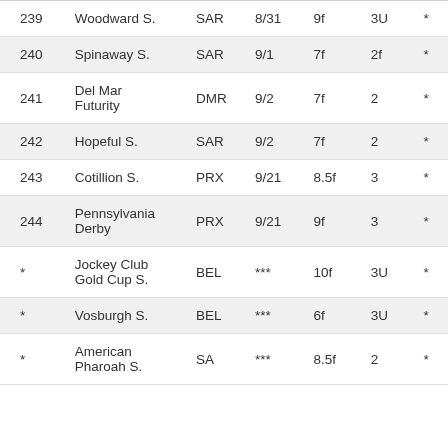| # | Name | Track | Date | Dist | Age |  |
| --- | --- | --- | --- | --- | --- | --- |
| 239 | Woodward S. | SAR | 8/31 | 9f | 3U | * |
| 240 | Spinaway S. | SAR | 9/1 | 7f | 2f | * |
| 241 | Del Mar Futurity | DMR | 9/2 | 7f | 2 | * |
| 242 | Hopeful S. | SAR | 9/2 | 7f | 2 | * |
| 243 | Cotillion S. | PRX | 9/21 | 8.5f | 3 | * |
| 244 | Pennsylvania Derby | PRX | 9/21 | 9f | 3 | * |
| * | Jockey Club Gold Cup S. | BEL | *** | 10f | 3U | * |
| * | Vosburgh S. | BEL | *** | 6f | 3U | * |
| * | American Pharoah S. | SA | *** | 8.5f | 2 | * |